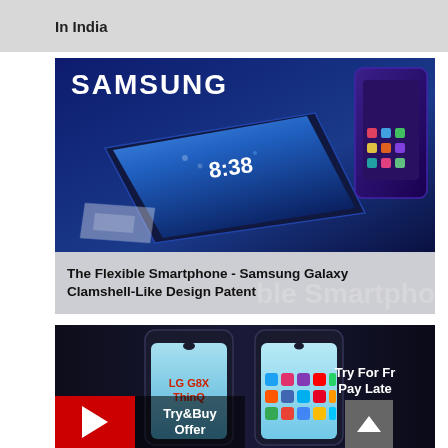In India
[Figure (photo): Samsung branded product photo showing a foldable/flexible smartphone with a blue Samsung logo, time 8:38 displayed on screen, and another Samsung phone visible top right]
The Flexible Smartphone - Samsung Galaxy Clamshell-Like Design Patent
[Figure (photo): LG G8X ThinQ dual screen smartphone shown with two screens side by side on dark background, with Try&Buy Offer and Try For Free Pay Later overlays and a play button]
Try&Buy Offer
Try For Fr... Pay Late...